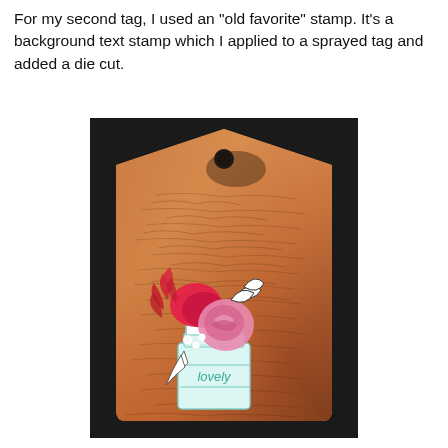For my second tag, I used an "old favorite" stamp. It's a background text stamp which I applied to a sprayed tag and added a die cut.
[Figure (photo): A crafted gift tag with a vintage background text stamp effect in warm orange and brown tones, featuring a die-cut mason jar with pink and red flowers arrangement. The jar is teal/mint colored with the word 'lovely' written on it. The tag has a hole punch at the top and is mounted on a dark/black background.]